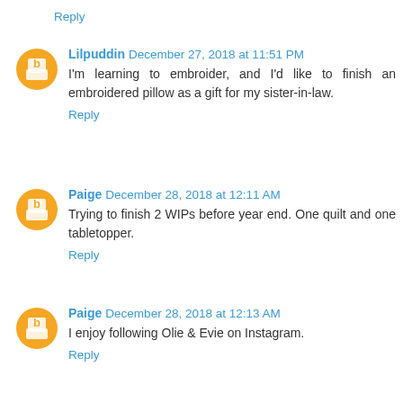Reply
Lilpuddin December 27, 2018 at 11:51 PM
I'm learning to embroider, and I'd like to finish an embroidered pillow as a gift for my sister-in-law.
Reply
Paige December 28, 2018 at 12:11 AM
Trying to finish 2 WIPs before year end. One quilt and one tabletopper.
Reply
Paige December 28, 2018 at 12:13 AM
I enjoy following Olie & Evie on Instagram.
Reply